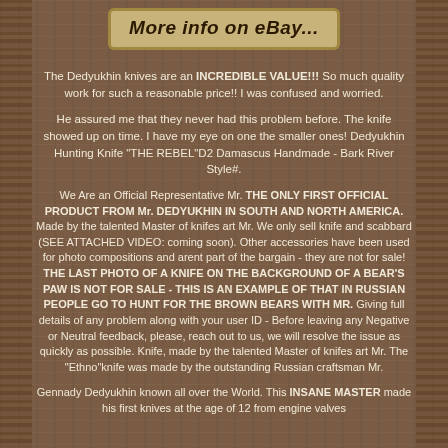[Figure (screenshot): eBay 'More info on eBay...' button with brown/tan background and italic bold text]
The Dedyukhin knives are an INCREDIBLE VALUE!!! So much quality work for such a reasonable price!! I was confused and worried.
He assured me that they never had this problem before. The knife showed up on time. I have my eye on one the smaller ones! Dedyukhin Hunting Knife "THE REBEL"D2 Damascus Handmade - Bark River Style#.
We Are an Official Representative Mr. THE ONLY FIRST OFFICIAL PRODUCT FROM Mr. DEDYUKHIN IN SOUTH AND NORTH AMERICA. Made by the talented Master of knifes art Mr. We only sell knife and scabbard (SEE ATTACHED VIDEO: coming soon). Other accessories have been used for photo compositions and arent part of the bargain - they are not for sale! THE LAST PHOTO OF A KNIFE ON THE BACKGROUND OF A BEAR'S PAW IS NOT FOR SALE - THIS IS AN EXAMPLE OF THAT IN RUSSIAN PEOPLE GO TO HUNT FOR THE BROWN BEARS WITH MR. Giving full details of any problem along with your user ID - Before leaving any Negative or Neutral feedback, please, reach out to us, we will resolve the issue as quickly as possible. Knife, made by the talented Master of knifes art Mr. The "Ethno"knife was made by the outstanding Russian craftsman Mr.
Gennady Dedyukhin known all over the World. This INSANE MASTER made his first knives at the age of 12 from engine valves...